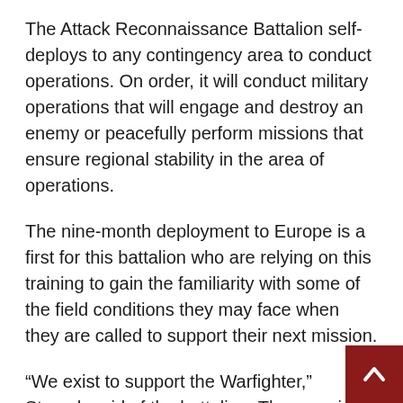The Attack Reconnaissance Battalion self-deploys to any contingency area to conduct operations. On order, it will conduct military operations that will engage and destroy an enemy or peacefully perform missions that ensure regional stability in the area of operations.
The nine-month deployment to Europe is a first for this battalion who are relying on this training to gain the familiarity with some of the field conditions they may face when they are called to support their next mission.
“We exist to support the Warfighter,” Staruch said of the battalion. They provide cover for ground combatants — the guys on the ground — to achie their mission.